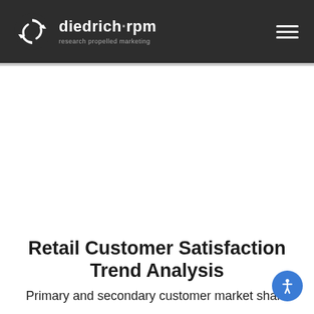diedrich·rpm — research propelled marketing
Retail Customer Satisfaction Trend Analysis
Primary and secondary customer market share